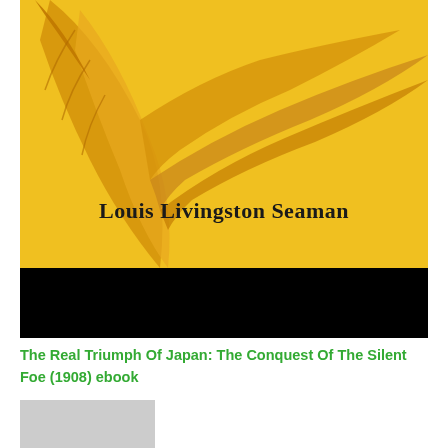[Figure (illustration): Book cover with yellow background featuring a large golden feather/quill illustration in the upper left, author name 'Louis Livingston Seaman' in bold text in the center, and a black band at the bottom.]
The Real Triumph Of Japan: The Conquest Of The Silent Foe (1908) ebook
[Figure (photo): Partially visible gray/silver image at the bottom left, content unclear.]